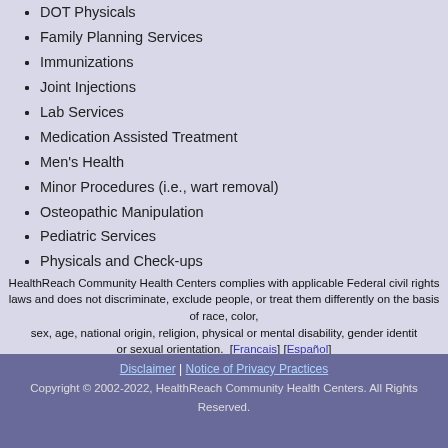DOT Physicals
Family Planning Services
Immunizations
Joint Injections
Lab Services
Medication Assisted Treatment
Men's Health
Minor Procedures (i.e., wart removal)
Osteopathic Manipulation
Pediatric Services
Physicals and Check-ups
Podiatry Services
Referrals
Sliding Fee Scale
Substance Use Disorder Treatment
Women's Health
The services available to our dental center patients include:
Affordable Care Program
HealthReach Community Health Centers complies with applicable Federal civil rights laws and does not discriminate, exclude people, or treat them differently on the basis of race, color, sex, age, national origin, religion, physical or mental disability, gender identity or sexual orientation. [Francais] [Español]
Disclaimer | Notice of Privacy Practices
Copyright © 2002-2022, HealthReach Community Health Centers. All Rights Reserved.